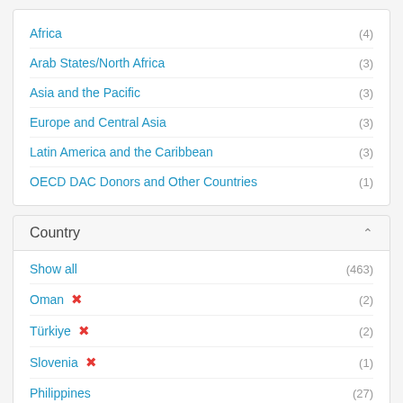Africa (4)
Arab States/North Africa (3)
Asia and the Pacific (3)
Europe and Central Asia (3)
Latin America and the Caribbean (3)
OECD DAC Donors and Other Countries (1)
Country
Show all (463)
Oman ✕ (2)
Türkiye ✕ (2)
Slovenia ✕ (1)
Philippines (27)
Mexico (21)
Moldova, Republic of (18)
India (13)